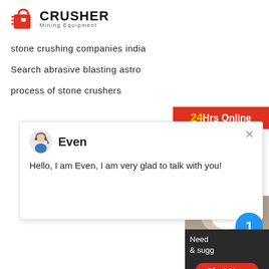[Figure (logo): Crusher Mining Equipment logo with red shopping bag icon and bold CRUSHER text]
stone crushing companies india
Search abrasive blasting astro
process of stone crushers
[Figure (screenshot): 24Hrs Online banner in red with gold '24' text]
[Figure (screenshot): Chat popup with avatar of Even (customer service agent) saying: Hello, I am Even, I am very glad to talk with you!]
[Figure (infographic): Bottom right sidebar widget showing agent photo, blue badge with '1', Need & suggestions text, Chat Now button, dashed divider, Enquiry section, and limingjlmofen@sina.com email]